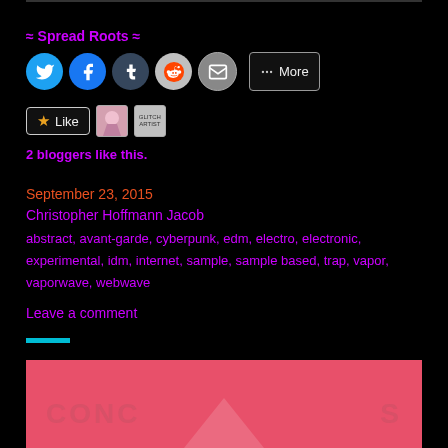≈ Spread Roots ≈
[Figure (infographic): Social sharing buttons: Twitter, Facebook, Tumblr, Reddit, Email, More]
[Figure (infographic): Like button with star icon and two blogger avatars]
2 bloggers like this.
September 23, 2015
Christopher Hoffmann Jacob
abstract, avant-garde, cyberpunk, edm, electro, electronic, experimental, idm, internet, sample, sample based, trap, vapor, vaporwave, webwave
Leave a comment
[Figure (illustration): Pink/coral colored image with partial text overlay reading CONC... and ...S with a white triangle shape]